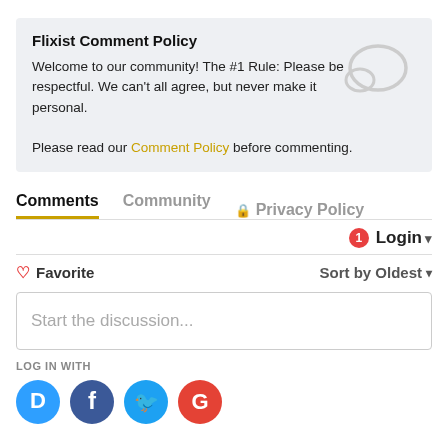Flixist Comment Policy
Welcome to our community! The #1 Rule: Please be respectful. We can't all agree, but never make it personal.
Please read our Comment Policy before commenting.
Comments | Community | Privacy Policy
1 Login
♡ Favorite    Sort by Oldest
Start the discussion...
LOG IN WITH
[Figure (illustration): Social login icons: Disqus (blue), Facebook (dark blue), Twitter (light blue), Google (red)]